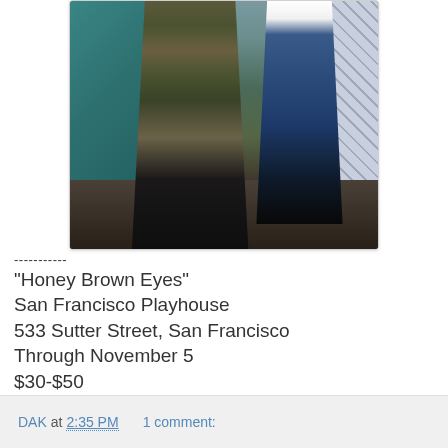[Figure (photo): Theater production photo showing two figures: one in military camouflage pants with boots and a rifle, the other in jeans and dark top with arm extended, set in a room with a teal door and tiled wall]
-----------
"Honey Brown Eyes"
San Francisco Playhouse
533 Sutter Street, San Francisco
Through November 5
$30-$50
DAK at 2:35 PM     1 comment: